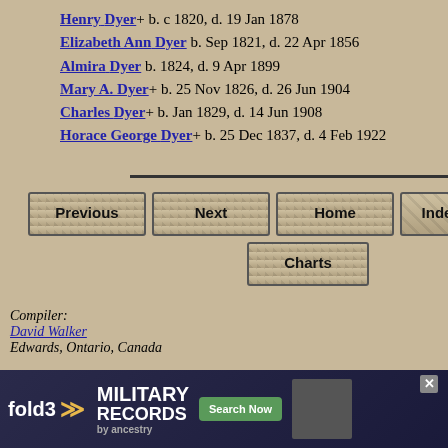Henry Dyer+ b. c 1820, d. 19 Jan 1878
Elizabeth Ann Dyer b. Sep 1821, d. 22 Apr 1856
Almira Dyer b. 1824, d. 9 Apr 1899
Mary A. Dyer+ b. 25 Nov 1826, d. 26 Jun 1904
Charles Dyer+ b. Jan 1829, d. 14 Jun 1908
Horace George Dyer+ b. 25 Dec 1837, d. 4 Feb 1922
Compiler:
David Walker
Edwards, Ontario, Canada
This page was created by John Cardinal's Second Site v1.9.4. 44,493